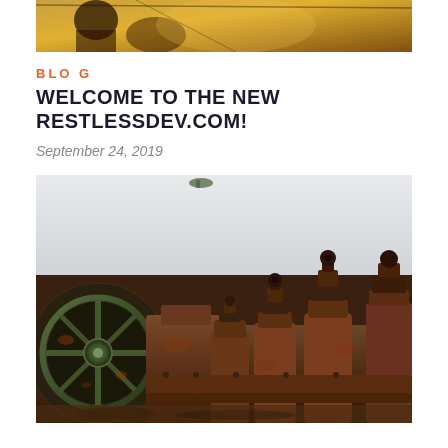[Figure (photo): Partial view of a dark illustrated or painted image at the top of the page, cropped - showing what appears to be an anime or illustrated character with orange/warm tones]
BLO G
WELCOME TO THE NEW RESTLESSDEV.COM!
September 24, 2019
[Figure (photo): Photograph of old rusty industrial machinery - showing a large green and brown corroded flywheel on the left, and multiple rusty cylindrical engine or pump components with ornate caps on the right, photographed against a light grey overcast sky]